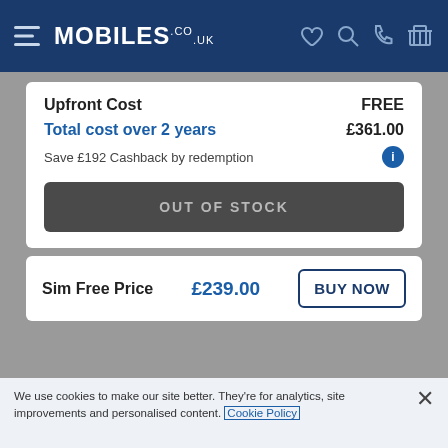MOBILES.CO.UK
| Item | Value |
| --- | --- |
| Upfront Cost | FREE |
| Total cost over 2 years | £361.00 |
| Save £192 Cashback by redemption |  |
OUT OF STOCK
| Sim Free Price | Price | Action |
| --- | --- | --- |
| Sim Free Price | £239.00 | BUY NOW |
We use cookies to make our site better. They're for analytics, site improvements and personalised content. Cookie Policy
Accept All Cookies